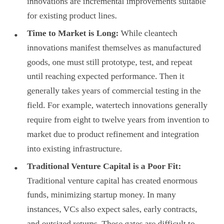Time to Market is Long: While cleantech innovations manifest themselves as manufactured goods, one must still prototype, test, and repeat until reaching expected performance. Then it generally takes years of commercial testing in the field. For example, watertech innovations generally require from eight to twelve years from invention to market due to product refinement and integration into existing infrastructure.
Traditional Venture Capital is a Poor Fit: Traditional venture capital has created enormous funds, minimizing startup money. In many instances, VCs also expect sales, early contracts, and outsized returns. These gates are difficult to overcome when attempting to put a multi-million-dollar product on the market.